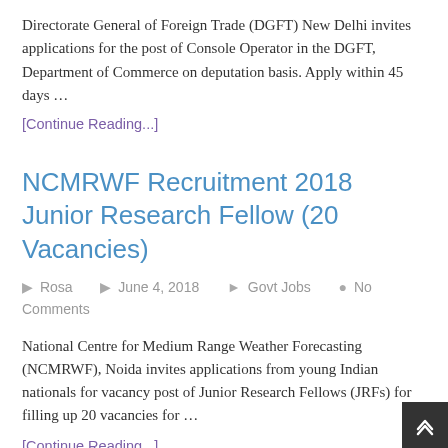Directorate General of Foreign Trade (DGFT) New Delhi invites applications for the post of Console Operator in the DGFT, Department of Commerce on deputation basis. Apply within 45 days …
[Continue Reading...]
NCMRWF Recruitment 2018 Junior Research Fellow (20 Vacancies)
Rosa   June 4, 2018   Govt Jobs   No Comments
National Centre for Medium Range Weather Forecasting (NCMRWF), Noida invites applications from young Indian nationals for vacancy post of Junior Research Fellows (JRFs) for filling up 20 vacancies for …
[Continue Reading...]